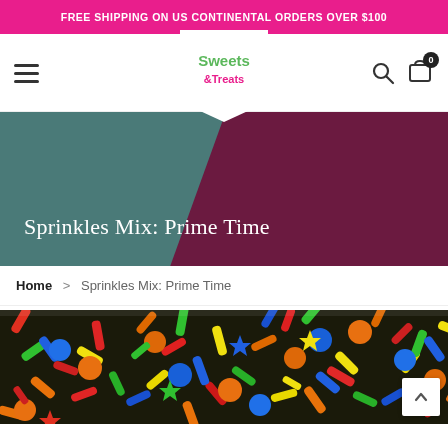FREE SHIPPING ON US CONTINENTAL ORDERS OVER $100
[Figure (logo): Sweets & Treats logo with colorful text in green, pink, and blue]
Sprinkles Mix: Prime Time
Home > Sprinkles Mix: Prime Time
[Figure (photo): Close-up photo of colorful sprinkles mix with various shapes including stars, cylinders, and discs in red, orange, yellow, green, and blue colors]